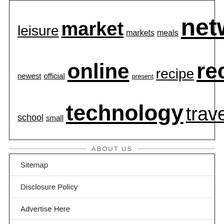[Figure (other): Tag cloud with words: leisure, market, markets, meals, network, newest, official, online, present, recipe, recipes, retailer, school, small, technology, travel, university, world — in varying font sizes]
ABOUT US
Sitemap
Disclosure Policy
Advertise Here
Contact Us
PARTNER LINK